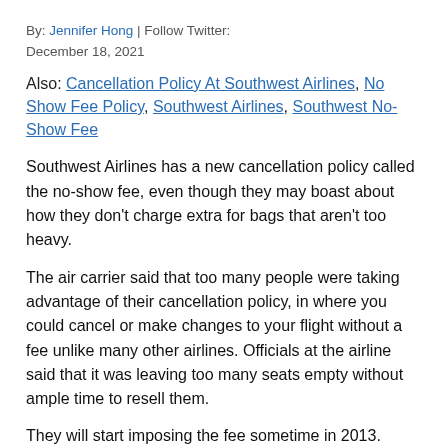By: Jennifer Hong | Follow Twitter:
December 18, 2021
Also: Cancellation Policy At Southwest Airlines, No Show Fee Policy, Southwest Airlines, Southwest No-Show Fee
Southwest Airlines has a new cancellation policy called the no-show fee, even though they may boast about how they don't charge extra for bags that aren't too heavy.
The air carrier said that too many people were taking advantage of their cancellation policy, in where you could cancel or make changes to your flight without a fee unlike many other airlines. Officials at the airline said that it was leaving too many seats empty without ample time to resell them.
They will start imposing the fee sometime in 2013.
CEO Gary Kelly said the Southwest fee will bring the airline closer in line with policies at other airlines and won't alienate customers. Kelly suggest's that due to empty seats from